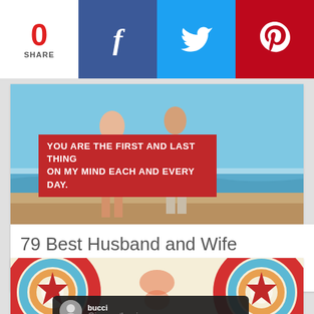0 SHARE
[Figure (illustration): Facebook share button with 'f' icon on dark blue background]
[Figure (illustration): Twitter share button with bird icon on light blue background]
[Figure (illustration): Pinterest share button with 'P' icon on red background]
[Figure (photo): Couple walking on beach in white clothing with quote overlay: YOU ARE THE FIRST AND LAST THING ON MY MIND EACH AND EVERY DAY.]
79 Best Husband and Wife Quotes
[Figure (illustration): Colorful retro circular pattern with stars in red, blue, cream colors. Tweet overlay showing user 'bucci @incorrectbucci']